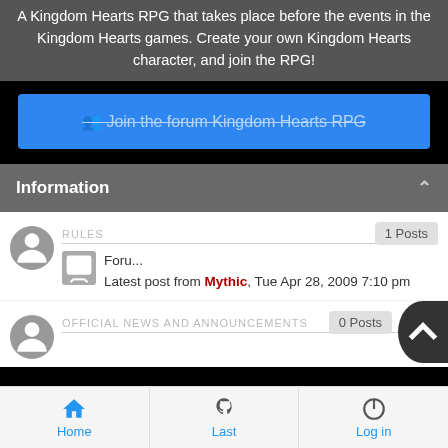A Kingdom Hearts RPG that takes place before the events in the Kingdom Hearts games. Create your own Kingdom Hearts character, and join the RPG!
[Figure (screenshot): Blue button to join the forum 'Kingdom Hearts RPG' with strikethrough text styling]
Information
1 Posts
RULES
Foru...
Latest post from Mythic, Tue Apr 28, 2009 7:10 pm
0 Posts
OFFICIAL NEWS AND ANNOUNCEMENTS
Home   Last   Log in